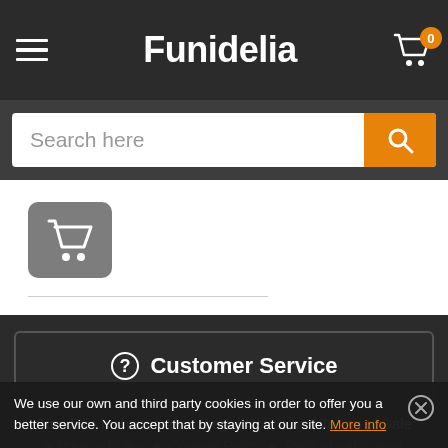Funidelia
Search here
[Figure (screenshot): Shopping cart icon on a grey rounded square button]
⓪ Customer Service
Funidelia in the world • Legal Notice and Terms of Sale
• Privacy Policy • Cookies Policy • Right of withdrawal
• Sitemap
We use our own and third party cookies in order to offer you a better service. You accept that by staying at our site. More info